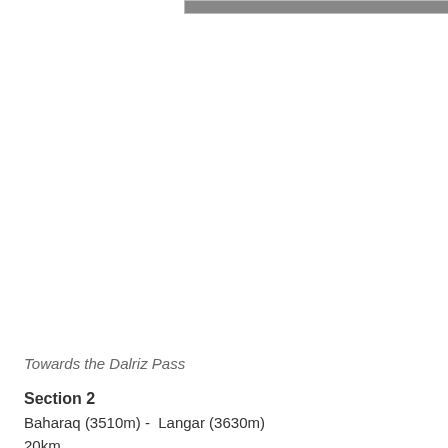[Figure (photo): Bottom edge of a photograph showing a landscape scene, partially visible at top of page]
Towards the Dalriz Pass
Section 2
Baharaq (3510m) -  Langar (3630m)
20km